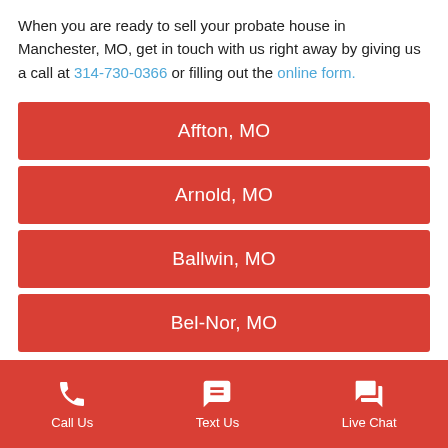When you are ready to sell your probate house in Manchester, MO, get in touch with us right away by giving us a call at 314-730-0366 or filling out the online form.
Affton, MO
Arnold, MO
Ballwin, MO
Bel-Nor, MO
Call Us  Text Us  Live Chat